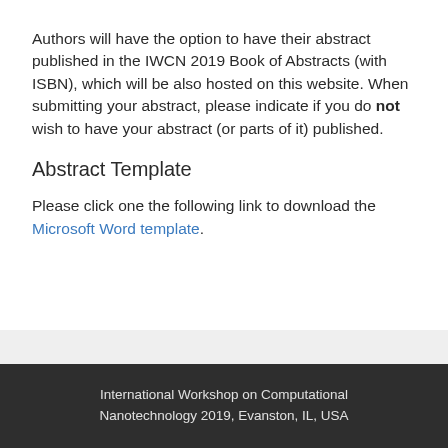Authors will have the option to have their abstract published in the IWCN 2019 Book of Abstracts (with ISBN), which will be also hosted on this website. When submitting your abstract, please indicate if you do not wish to have your abstract (or parts of it) published.
Abstract Template
Please click one the following link to download the Microsoft Word template.
International Workshop on Computational Nanotechnology 2019, Evanston, IL, USA